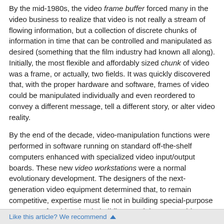By the mid-1980s, the video frame buffer forced many in the video business to realize that video is not really a stream of flowing information, but a collection of discrete chunks of information in time that can be controlled and manipulated as desired (something that the film industry had known all along). Initially, the most flexible and affordably sized chunk of video was a frame, or actually, two fields. It was quickly discovered that, with the proper hardware and software, frames of video could be manipulated individually and even reordered to convey a different message, tell a different story, or alter video reality.
By the end of the decade, video-manipulation functions were performed in software running on standard off-the-shelf computers enhanced with specialized video input/output boards. These new video workstations were a normal evolutionary development. The designers of the next-generation video equipment determined that, to remain competitive, expertise must lie not in building special-purpose computers for video, but in building special-purpose video boards and software to work with general-purpose computers.
The Video-Creation and Manipulation
Like this article? We recommend